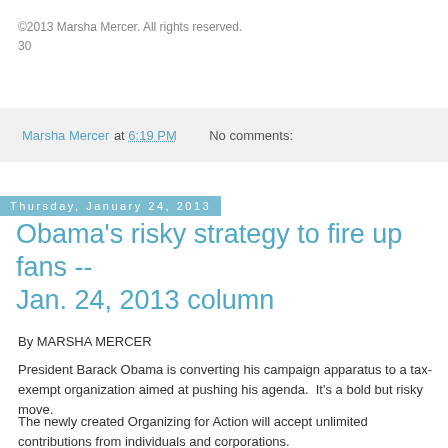©2013 Marsha Mercer. All rights reserved.
30
Marsha Mercer at 6:19 PM   No comments:
Thursday, January 24, 2013
Obama's risky strategy to fire up fans -- Jan. 24, 2013 column
By MARSHA MERCER
President Barack Obama is converting his campaign apparatus to a tax-exempt organization aimed at pushing his agenda.  It's a bold but risky move.
The newly created Organizing for Action will accept unlimited contributions from individuals and corporations.